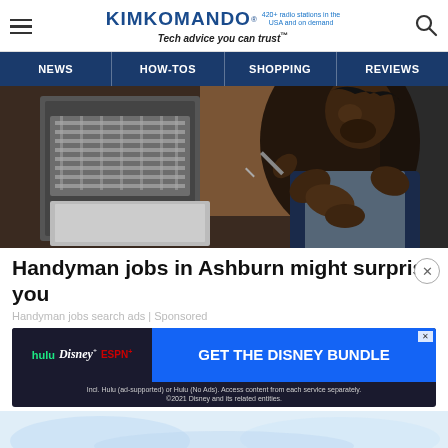KIM KOMANDO® 420+ radio stations in the USA and on demand Tech advice you can trust™
[Figure (other): Navigation bar with links: NEWS, HOW-TOS, SHOPPING, REVIEWS on dark blue background]
[Figure (photo): A man in overalls working on a dishwasher in a kitchen, using a screwdriver on the door panel]
Handyman jobs in Ashburn might surprise you
Handyman jobs search ads | Sponsored
[Figure (screenshot): Disney Bundle advertisement: hulu, Disney+, ESPN+ logos with 'GET THE DISNEY BUNDLE' call to action button. Incl. Hulu (ad-supported) or Hulu (No Ads). Access content from each service separately. ©2021 Disney and its related entities.]
[Figure (photo): Partial view of light blue background image at bottom]